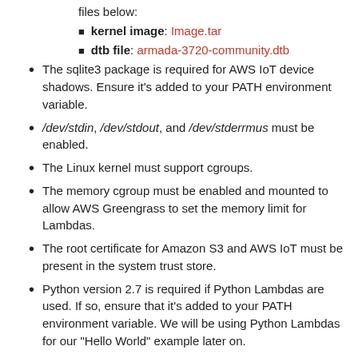files below:
kernel image: Image.tar
dtb file: armada-3720-community.dtb
The sqlite3 package is required for AWS IoT device shadows. Ensure it’s added to your PATH environment variable.
/dev/stdin, /dev/stdout, and /dev/stderrmus must be enabled.
The Linux kernel must support cgroups.
The memory cgroup must be enabled and mounted to allow AWS Greengrass to set the memory limit for Lambdas.
The root certificate for Amazon S3 and AWS IoT must be present in the system trust store.
Python version 2.7 is required if Python Lambdas are used. If so, ensure that it's added to your PATH environment variable. We will be using Python Lambdas for our "Hello World" example later on.